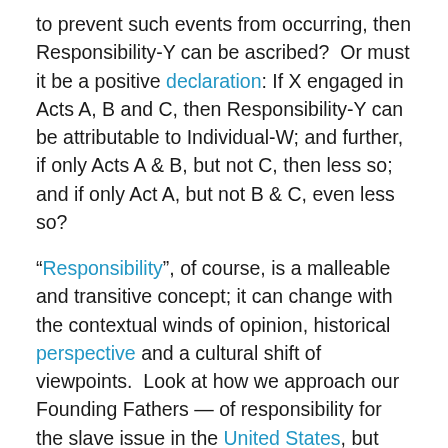to prevent such events from occurring, then Responsibility-Y can be ascribed?  Or must it be a positive declaration: If X engaged in Acts A, B and C, then Responsibility-Y can be attributable to Individual-W; and further, if only Acts A & B, but not C, then less so; and if only Act A, but not B & C, even less so?
“Responsibility”, of course, is a malleable and transitive concept; it can change with the contextual winds of opinion, historical perspective and a cultural shift of viewpoints.  Look at how we approach our Founding Fathers — of responsibility for the slave issue in the United States, but somehow excusing each if (A) any one of them willed that they would be freed upon their deaths, (B) that one was “personally” against the issue but for economic, practical reasons were “forced” to go along or (C) they treated them “kindly” and “responsibly” (here, we